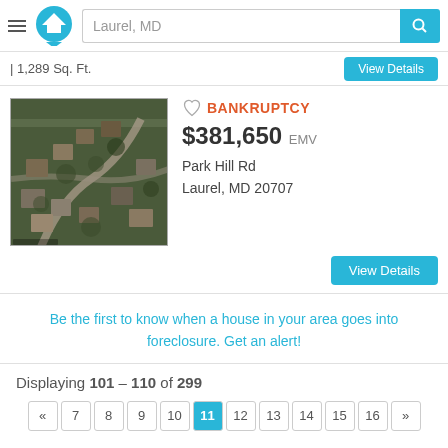[Figure (screenshot): App header with hamburger menu, home icon logo, search bar with 'Laurel, MD' placeholder, and teal search button]
| 1,289 Sq. Ft.
View Details
[Figure (photo): Aerial satellite view of Park Hill Rd neighborhood in Laurel, MD showing houses and roads]
BANKRUPTCY
$381,650 EMV
Park Hill Rd
Laurel, MD 20707
View Details
Be the first to know when a house in your area goes into foreclosure. Get an alert!
Displaying 101 - 110 of 299
« 7 8 9 10 11 12 13 14 15 16 »